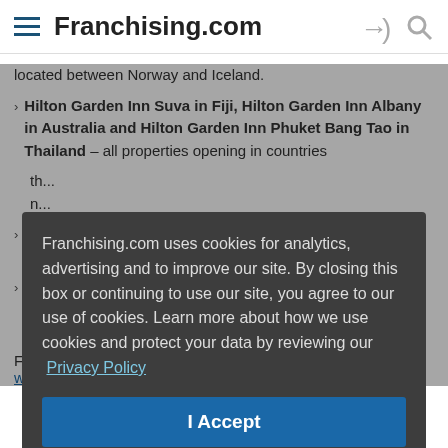Franchising.com
located between Norway and Iceland.
Hilton Garden Inn Suva in Fiji, Hilton Garden Inn Albany in Australia and Hilton Garden Inn Phuket Bang Tao in Thailand – all properties opening in countries th... n...
H... fi...
H... p... fi...
For m... www.hgi.com or newsroom.hilton.com/hgi.
Franchising.com uses cookies for analytics, advertising and to improve our site. By closing this box or continuing to use our site, you agree to our use of cookies. Learn more about how we use cookies and protect your data by reviewing our Privacy Policy
I Accept